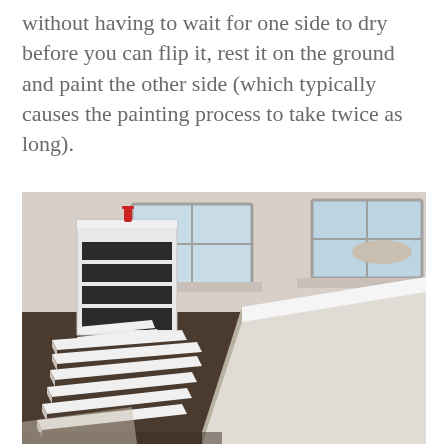without having to wait for one side to dry before you can flip it, rest it on the ground and paint the other side (which typically causes the painting process to take twice as long).
[Figure (photo): Interior room showing multiple flat wooden shelving boards painted white on their top surfaces, laid out flat on the floor. A white bookcase with dark open shelves stands in the background. Two windows let in natural light. The floor is dark hardwood.]